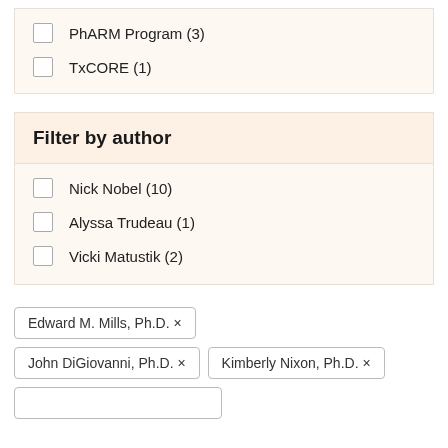PhARM Program (3)
TxCORE (1)
Filter by author
Nick Nobel (10)
Alyssa Trudeau (1)
Vicki Matustik (2)
Edward M. Mills, Ph.D. ×
John DiGiovanni, Ph.D. ×
Kimberly Nixon, Ph.D. ×